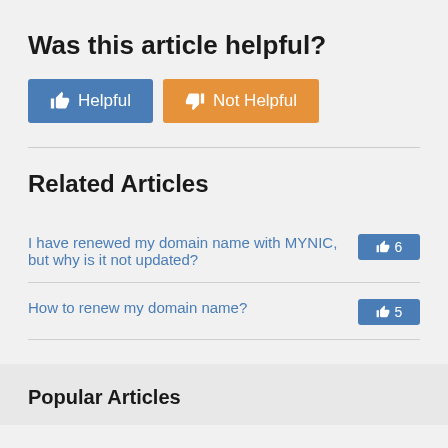Was this article helpful?
[Figure (infographic): Two buttons: blue 'Helpful' button with thumbs-up icon and orange 'Not Helpful' button with thumbs-down icon]
Related Articles
I have renewed my domain name with MYNIC, but why is it not updated?  [thumbs up 6]
How to renew my domain name?  [thumbs up 5]
Popular Articles